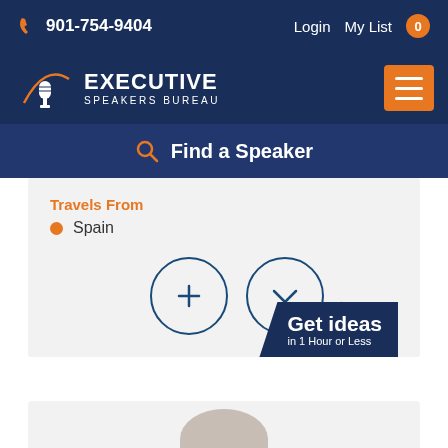901-754-9404  Login  My List 0
[Figure (logo): Executive Speakers Bureau logo with microphone icon and orange arc]
Find a Speaker
Travels From
Spain
[Figure (infographic): Plus button circle and checkmark circle icons, with Get ideas in 1 Hour or Less banner]
[Figure (photo): Top of person's head visible at bottom of page]